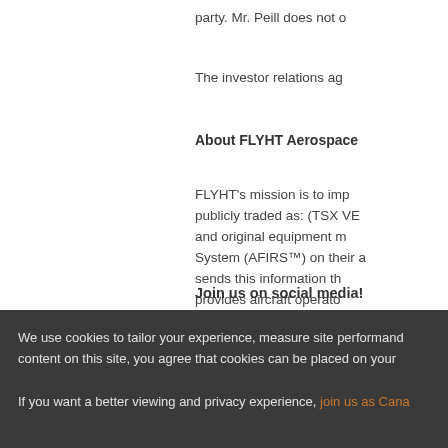party. Mr. Peill does not o
The investor relations ag
About FLYHT Aerospace
FLYHT's mission is to imp publicly traded as: (TSX VE and original equipment m System (AFIRS™) on their a sends this information th provides aircraft operato enables them to take corr
Join us on social media!
We use cookies to tailor your experience, measure site performand content on this site, you agree that cookies can be placed on your
If you want a better viewing and privacy experience, join us as Cana